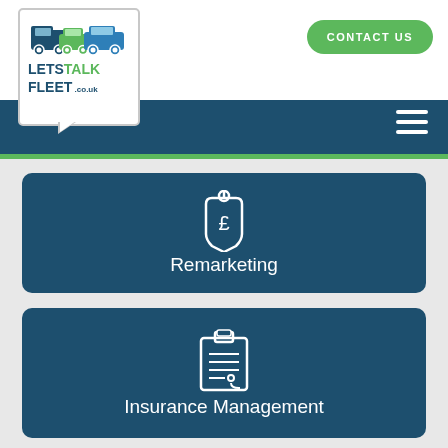[Figure (logo): LetsTalkFleet.co.uk logo with cars and speech bubble]
CONTACT US
[Figure (illustration): Price tag icon with pound sign]
Remarketing
[Figure (illustration): Clipboard with document lines icon]
Insurance Management